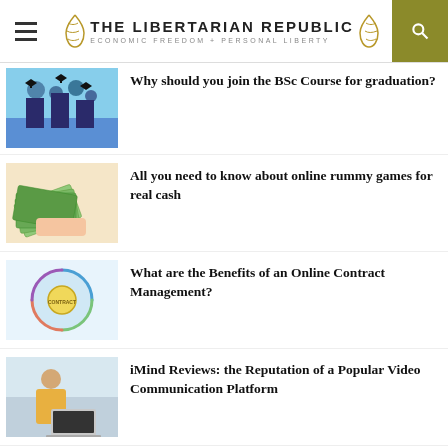THE LIBERTARIAN REPUBLIC | ECONOMIC FREEDOM + PERSONAL LIBERTY
Why should you join the BSc Course for graduation?
All you need to know about online rummy games for real cash
What are the Benefits of an Online Contract Management?
iMind Reviews: the Reputation of a Popular Video Communication Platform
How to Teach Kids to Clean Their Rooms